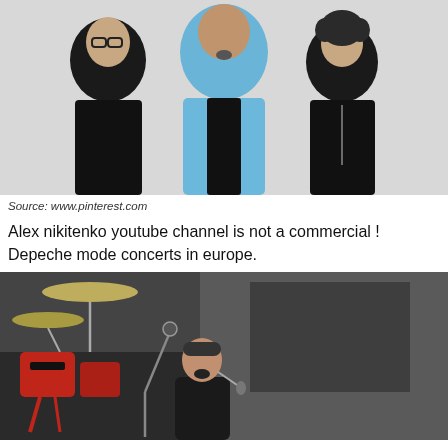[Figure (photo): Three men posing for a photo. The man in the center wears a light blue blazer; the men on either side wear black clothing. This appears to be a promotional photo of the band Depeche Mode.]
Source: www.pinterest.com
Alex nikitenko youtube channel is not a commercial ! Depeche mode concerts in europe.
[Figure (photo): Concert photo showing a singer performing on stage with a microphone, mouth open, wearing a black jacket. Drum kit with red hardware and cymbals visible on the left. Dark stage background.]